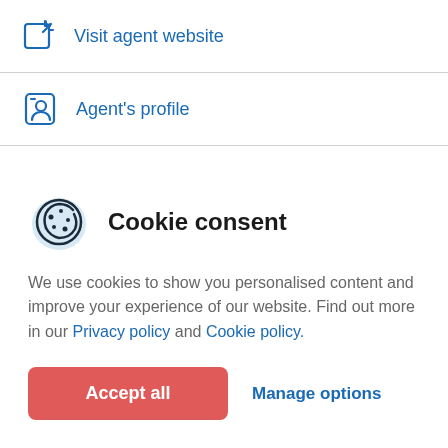Visit agent website
Agent's profile
Agent's properties
Cookie consent
We use cookies to show you personalised content and improve your experience of our website. Find out more in our Privacy policy and Cookie policy.
Accept all
Manage options